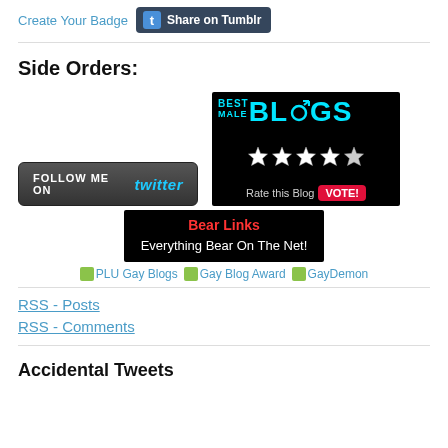Create Your Badge   Share on Tumblr
Side Orders:
[Figure (other): Follow me on Twitter button (dark rounded rectangle with Twitter logo in cyan text)]
[Figure (other): Best Male Blogs banner with 5 stars and Vote button on dark background]
[Figure (other): Bear Links - Everything Bear On The Net! black box with red and white text]
PLU Gay Blogs   Gay Blog Award   GayDemon
RSS - Posts
RSS - Comments
Accidental Tweets